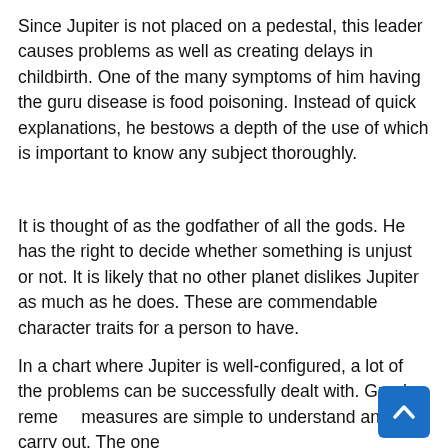Since Jupiter is not placed on a pedestal, this leader causes problems as well as creating delays in childbirth. One of the many symptoms of him having the guru disease is food poisoning. Instead of quick explanations, he bestows a depth of the use of which is important to know any subject thoroughly.
It is thought of as the godfather of all the gods. He has the right to decide whether something is unjust or not. It is likely that no other planet dislikes Jupiter as much as he does. These are commendable character traits for a person to have.
In a chart where Jupiter is well-configured, a lot of the problems can be successfully dealt with. Guru's remedial measures are simple to understand and carry out. The one thing that more than anything is...